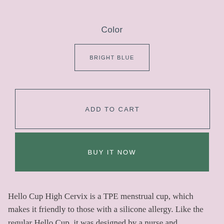Color
BRIGHT BLUE
ADD TO CART
BUY IT NOW
Hello Cup High Cervix is a TPE menstrual cup, which makes it friendly to those with a silicone allergy. Like the regular Hello Cup, it was designed by a nurse and